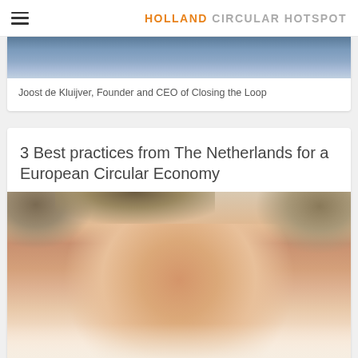HOLLAND CIRCULAR HOTSPOT
[Figure (photo): Partial photo of Joost de Kluijver, top portion visible, blue clothing]
Joost de Kluijver, Founder and CEO of Closing the Loop
3 Best practices from The Netherlands for a European Circular Economy
[Figure (photo): Close-up face photo of Arthur then Wolde, smiling man with curly grey-brown hair]
Arthur then Wolde, Director Ecopreneur.eu